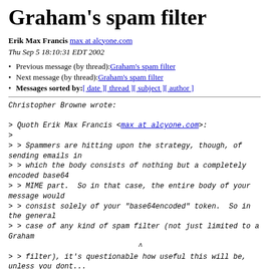Graham's spam filter
Erik Max Francis max at alcyone.com
Thu Sep 5 18:10:31 EDT 2002
Previous message (by thread): Graham's spam filter
Next message (by thread): Graham's spam filter
Messages sorted by: [ date ] [ thread ] [ subject ] [ author ]
Christopher Browne wrote:

> Quoth Erik Max Francis <max at alcyone.com>:
>
> > Spammers are hitting upon the strategy, though, of sending emails in
> > which the body consists of nothing but a completely encoded base64
> > MIME part.  So in that case, the entire body of your message would
> > consist solely of your "base64encoded" token.  So in the general
> > case of any kind of spam filter (not just limited to a Graham
                              ^
> > filter), it's questionable how useful this will be,
unless you dont...